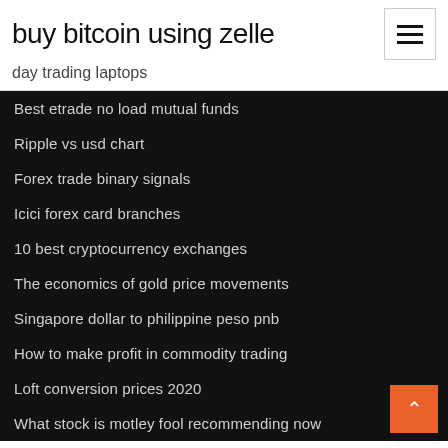buy bitcoin using zelle
day trading laptops
Best etrade no load mutual funds
Ripple vs usd chart
Forex trade binary signals
Icici forex card branches
10 best cryptocurrency exchanges
The economics of gold price movements
Singapore dollar to philippine peso pnb
How to make profit in commodity trading
Loft conversion prices 2020
What stock is motley fool recommending now